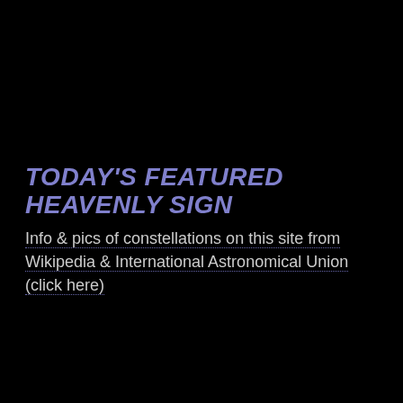TODAY'S FEATURED HEAVENLY SIGN
Info & pics of constellations on this site from Wikipedia & International Astronomical Union (click here)